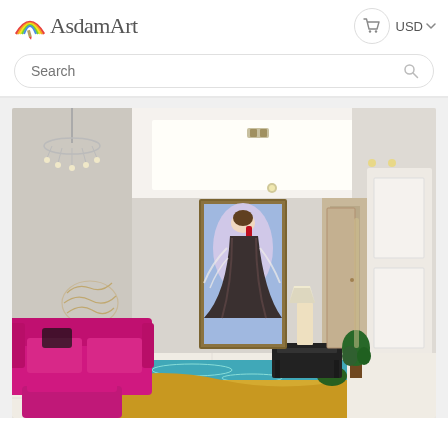[Figure (logo): AsdamArt logo with rainbow arc and pencil icon]
USD
[Figure (screenshot): Search bar with placeholder text 'Search' and magnifying glass icon]
[Figure (photo): Interior room photo showing a modern living space with a painting of a woman in a large dress hanging on the wall, pink/magenta sofa and ottoman, chandelier on the left, hallway with white doors on the right, and decorative 3D floor art in the foreground]